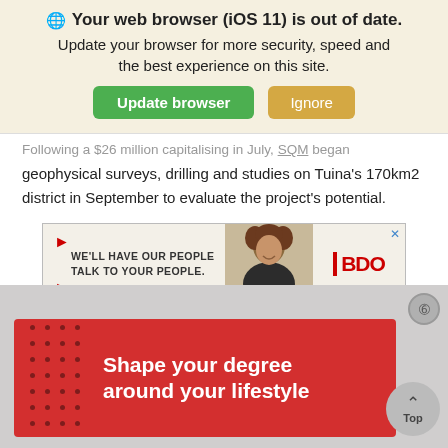Your web browser (iOS 11) is out of date. Update your browser for more security, speed and the best experience on this site.
geophysical surveys, drilling and studies on Tuina's 170km2 district in September to evaluate the project's potential.
[Figure (infographic): BDO advertisement banner: text 'WE'LL HAVE OUR PEOPLE TALK TO YOUR PEOPLE.' with a photo of a smiling woman and BDO logo.]
The results are expected to be published by the end of the
[Figure (infographic): Red advertisement banner with white dots pattern on left and white bold text 'Shape your degree around your lifestyle']